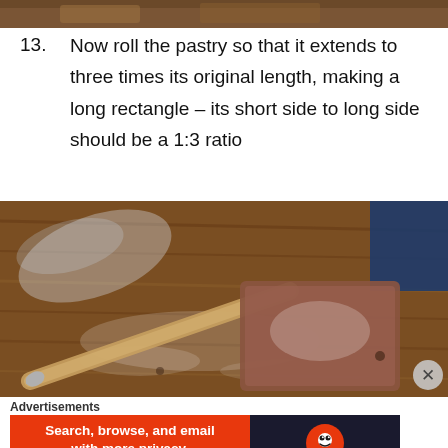[Figure (photo): Top portion of a photo showing a wooden surface with flour and pastry dough - cropped strip at top of page]
13. Now roll the pastry so that it extends to three times its original length, making a long rectangle – its short side to long side should be a 1:3 ratio
[Figure (photo): Photo of a wooden table with flour, a rolling pin, and a rectangular block of pastry dough ready to be rolled out]
Advertisements
[Figure (infographic): DuckDuckGo advertisement banner: 'Search, browse, and email with more privacy. All in One Free App' with DuckDuckGo logo on dark background]